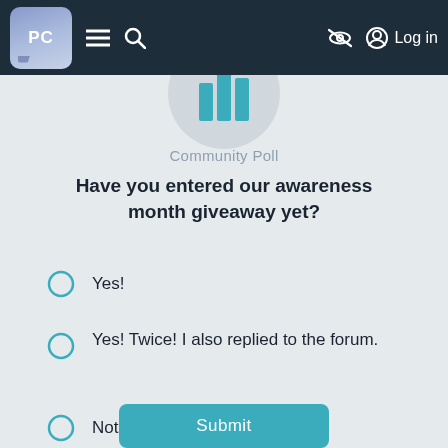PC [navigation bar with hamburger menu, search, eye-slash icon, and Log in]
[Figure (illustration): Circular avatar/logo icon with teal bar chart graphic inside, shown at top center of poll card]
Community Poll
Have you entered our awareness month giveaway yet?
Yes!
Yes! Twice! I also replied to the forum.
Not yet, but I will!
Submit